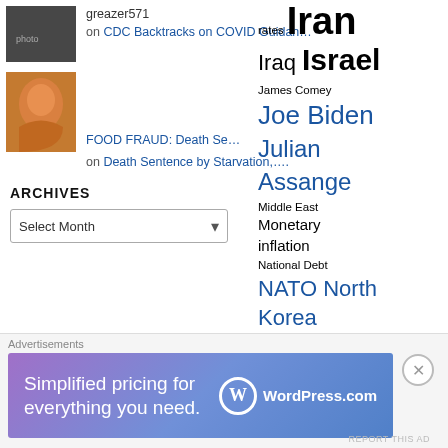[Figure (photo): Small avatar image of a person, dark tones]
greazer571 on CDC Backtracks on COVID Guidan…
[Figure (photo): Avatar image with orange/golden tones showing a figure]
FOOD FRAUD: Death Se… on Death Sentence by Starvation,….
ARCHIVES
Select Month (dropdown)
rates Iran Iraq Israel James Comey Joe Biden Julian Assange Middle East Monetary inflation National Debt NATO North Korea Obamacare Oil President Obama President Trump Prime Deceit Republicans Robert
[Figure (screenshot): WordPress.com advertisement banner: Simplified pricing for everything you need.]
Advertisements